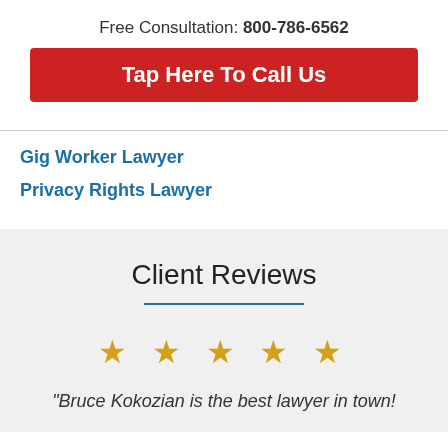Free Consultation: 800-786-6562
Tap Here To Call Us
Gig Worker Lawyer
Privacy Rights Lawyer
Client Reviews
[Figure (other): Five gold star rating icons]
"Bruce Kokozian is the best lawyer in town!